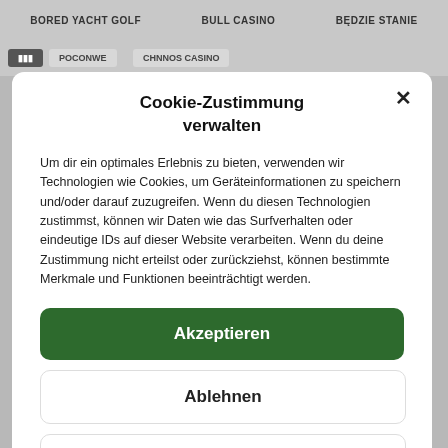BORED YACHT GOLF   BULL CASINO   BĘDZIE STANIE
Cookie-Zustimmung verwalten
Um dir ein optimales Erlebnis zu bieten, verwenden wir Technologien wie Cookies, um Geräteinformationen zu speichern und/oder darauf zuzugreifen. Wenn du diesen Technologien zustimmst, können wir Daten wie das Surfverhalten oder eindeutige IDs auf dieser Website verarbeiten. Wenn du deine Zustimmung nicht erteilst oder zurückziehst, können bestimmte Merkmale und Funktionen beeinträchtigt werden.
Akzeptieren
Ablehnen
Einstellungen ansehen